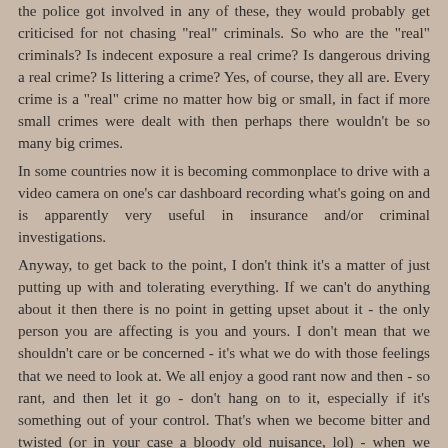the police got involved in any of these, they would probably get criticised for not chasing "real" criminals. So who are the "real" criminals? Is indecent exposure a real crime? Is dangerous driving a real crime? Is littering a crime? Yes, of course, they all are. Every crime is a "real" crime no matter how big or small, in fact if more small crimes were dealt with then perhaps there wouldn't be so many big crimes. In some countries now it is becoming commonplace to drive with a video camera on one's car dashboard recording what's going on and is apparently very useful in insurance and/or criminal investigations. Anyway, to get back to the point, I don't think it's a matter of just putting up with and tolerating everything. If we can't do anything about it then there is no point in getting upset about it - the only person you are affecting is you and yours. I don't mean that we shouldn't care or be concerned - it's what we do with those feelings that we need to look at. We all enjoy a good rant now and then - so rant, and then let it go - don't hang on to it, especially if it's something out of your control. That's when we become bitter and twisted (or in your case a bloody old nuisance, lol) - when we allow ourselves to become inwardly and outwardly affected by the actions and behaviour of others.